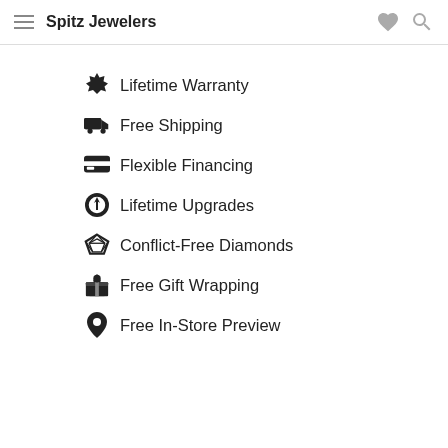Spitz Jewelers
Lifetime Warranty
Free Shipping
Flexible Financing
Lifetime Upgrades
Conflict-Free Diamonds
Free Gift Wrapping
Free In-Store Preview